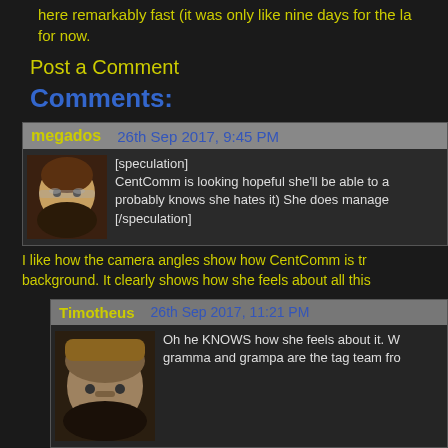here remarkably fast (it was only like nine days for the la for now.
Post a Comment
Comments:
megados   26th Sep 2017, 9:45 PM
[speculation] CentComm is looking hopeful she'll be able to a probably knows she hates it) She does manage [/speculation]
I like how the camera angles show how CentComm is tr background. It clearly shows how she feels about all this
Timotheus   26th Sep 2017, 11:21 PM
Oh he KNOWS how she feels about it. W gramma and grampa are the tag team fro
Sheela   27th Sep 2017, 4:41 AM
He's gonna make her think that she's avo